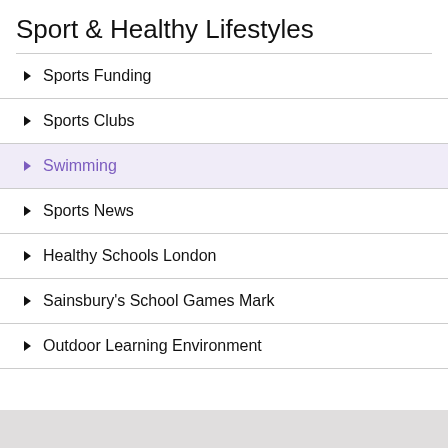Sport & Healthy Lifestyles
Sports Funding
Sports Clubs
Swimming
Sports News
Healthy Schools London
Sainsbury's School Games Mark
Outdoor Learning Environment